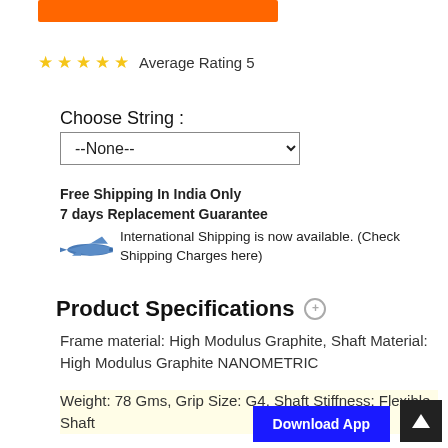[Figure (other): Orange button/bar element at top]
☆ ☆ ☆ ☆ ☆ Average Rating 5
Choose String :
--None--
Free Shipping In India Only
7 days Replacement Guarantee
International Shipping is now available. (Check Shipping Charges here)
Product Specifications
Frame material: High Modulus Graphite, Shaft Material: High Modulus Graphite NANOMETRIC
Weight: 78 Gms, Grip Size: G4, Shaft Stiffness: Flexible Shaft
[Figure (other): Download App button (blue)]